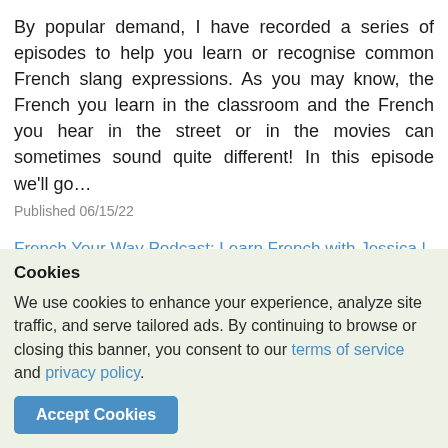By popular demand, I have recorded a series of episodes to help you learn or recognise common French slang expressions. As you may know, the French you learn in the classroom and the French you hear in the street or in the movies can sometimes sound quite different! In this episode we'll go…
Published 06/15/22
French Your Way Podcast: Learn French with Jessica | French Grammar | French Vocabulary | French Expressions
Published 06/15/22
[Figure (screenshot): Cookie consent banner with green-tinted background. Shows title 'Cookies', body text about cookie usage with links to 'terms of service' and 'privacy policy', and an 'Accept Cookies' button in blue. Behind the banner, partially visible blurred page text is visible.]